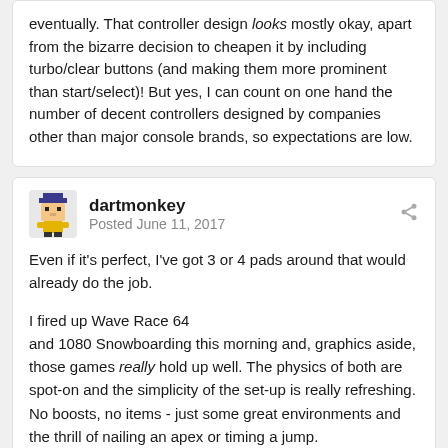eventually. That controller design looks mostly okay, apart from the bizarre decision to cheapen it by including turbo/clear buttons (and making them more prominent than start/select)! But yes, I can count on one hand the number of decent controllers designed by companies other than major console brands, so expectations are low.
dartmonkey
Posted June 11, 2017
Even if it's perfect, I've got 3 or 4 pads around that would already do the job.
I fired up Wave Race 64 and 1080 Snowboarding this morning and, graphics aside, those games really hold up well. The physics of both are spot-on and the simplicity of the set-up is really refreshing. No boosts, no items - just some great environments and the thrill of nailing an apex or timing a jump.
They mentioned on the Bombcast this week the idea of Nintendo putting out a Hits game a la Rare Replay. Instead of spending $60 on a